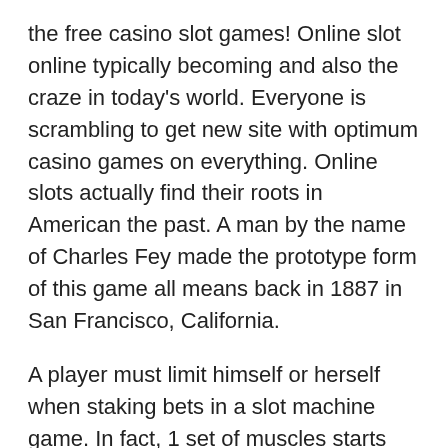the free casino slot games! Online slot online typically becoming and also the craze in today's world. Everyone is scrambling to get new site with optimum casino games on everything. Online slots actually find their roots in American the past. A man by the name of Charles Fey made the prototype form of this game all means back in 1887 in San Francisco, California.
A player must limit himself or herself when staking bets in a slot machine game. In fact, 1 set of muscles starts shed bets, it is best to obstruct. Also, the limit should never be more than ten percent of the account credits for it's safer perform this mode. For instance, if a player has 1000 dollars on the account and he has decided to risk hundred, then your dog must stop playing the slot